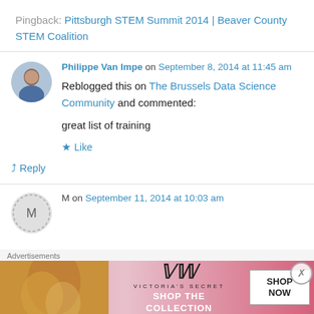Pingback: Pittsburgh STEM Summit 2014 | Beaver County STEM Coalition
Philippe Van Impe on September 8, 2014 at 11:45 am
Reblogged this on The Brussels Data Science Community and commented:
great list of training
Like
Reply
M on September 11, 2014 at 10:03 am
Advertisements
[Figure (screenshot): Victoria's Secret advertisement banner with pink background, model photo, VS logo, 'SHOP THE COLLECTION' text, and 'SHOP NOW' button]